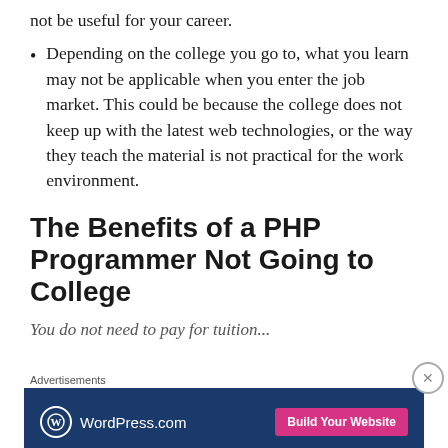not be useful for your career.
Depending on the college you go to, what you learn may not be applicable when you enter the job market. This could be because the college does not keep up with the latest web technologies, or the way they teach the material is not practical for the work environment.
The Benefits of a PHP Programmer Not Going to College
You do not need to pay for tuition...
Advertisements
[Figure (other): WordPress.com advertisement banner with 'Build Your Website' button]